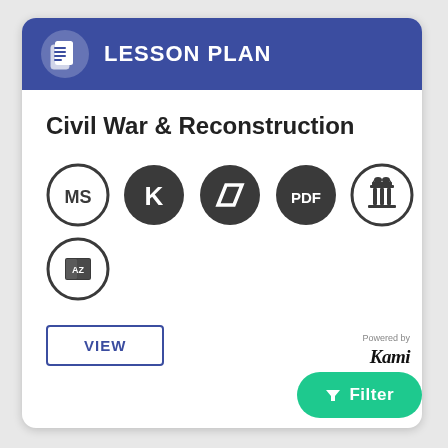LESSON PLAN
Civil War & Reconstruction
[Figure (infographic): Row of 5 circular icons: MS (Microsoft), K (Kami), parallelogram shape, PDF, and a Greek column/pillar icon. Second row has one circular icon with AZ book symbol.]
VIEW
Powered by Kami
Filter